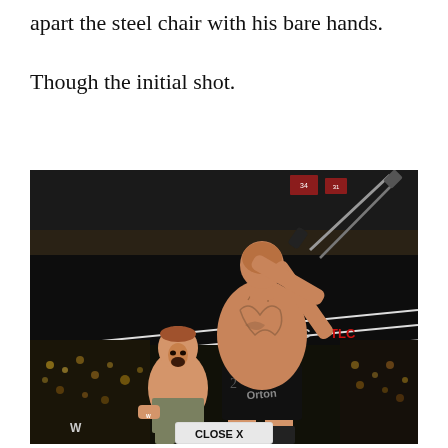apart the steel chair with his bare hands.

Though the initial shot.
[Figure (photo): WWE wrestling match photo showing Randy Orton (back to camera, wearing black trunks labeled 'Orton') raising a steel chair above John Cena who is crouching and reacting in pain. Arena crowd visible in background. WWE TLC branding visible on arena signage. A 'CLOSE X' button overlay visible at bottom center of image.]